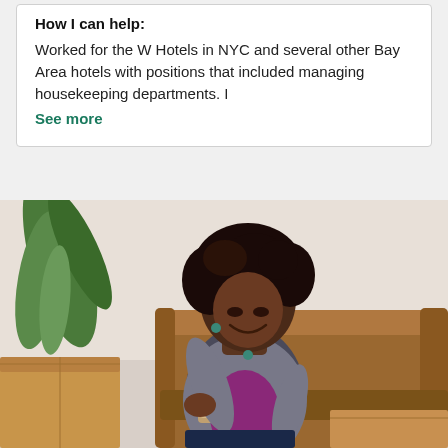How I can help:
Worked for the W Hotels in NYC and several other Bay Area hotels with positions that included managing housekeeping departments. I
See more
[Figure (photo): A woman with natural curly hair sitting on the floor next to moving boxes and a brown leather couch, smiling while looking at her phone. A green plant is visible in the background.]